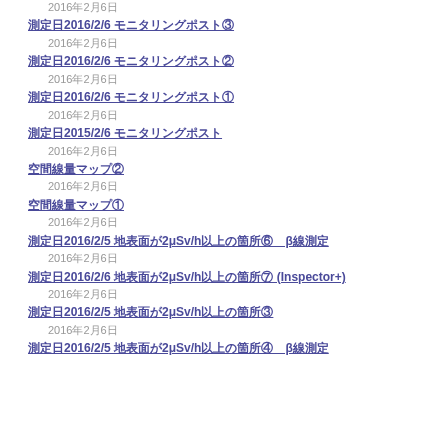2016年2月6日
測定日2016/2/6 モニタリングポスト③
2016年2月6日
測定日2016/2/6 モニタリングポスト②
2016年2月6日
測定日2016/2/6 モニタリングポスト①
2016年2月6日
測定日2015/2/6 モニタリングポスト
2016年2月6日
空間線量マップ②
2016年2月6日
空間線量マップ①
2016年2月6日
測定日2016/2/5 地表面が2μSv/h以上の箇所⑥ β線測定
2016年2月6日
測定日2016/2/6 地表面が2μSv/h以上の箇所⑦ (Inspector+)
2016年2月6日
測定日2016/2/5 地表面が2μSv/h以上の箇所③
2016年2月6日
測定日2016/2/5 地表面が2μSv/h以上の箇所④ β線測定